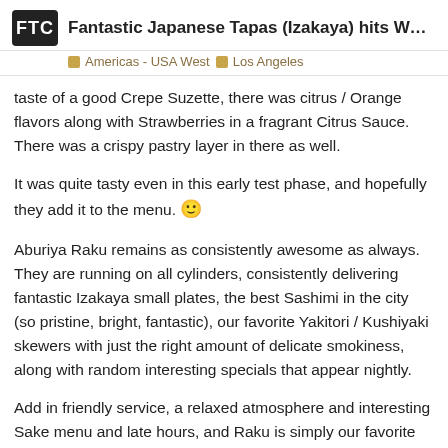FTC — Fantastic Japanese Tapas (Izakaya) hits West H...
Americas - USA West | Los Angeles
taste of a good Crepe Suzette, there was citrus / Orange flavors along with Strawberries in a fragrant Citrus Sauce. There was a crispy pastry layer in there as well.
It was quite tasty even in this early test phase, and hopefully they add it to the menu. 🙂
Aburiya Raku remains as consistently awesome as always. They are running on all cylinders, consistently delivering fantastic Izakaya small plates, the best Sashimi in the city (so pristine, bright, fantastic), our favorite Yakitori / Kushiyaki skewers with just the right amount of delicate smokiness, along with random interesting specials that appear nightly.
Add in friendly service, a relaxed atmosphere and interesting Sake menu and late hours, and Raku is simply our favorite Izakaya in the city.
Aburiya Raku
521 N. La Cienega Blvd.
474 / 666